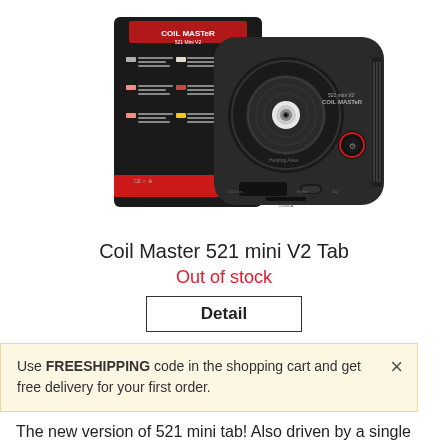[Figure (photo): Product photo of Coil Master 521 mini V2 Tab device with its packaging box. The device is a black compact electronic vaping tool tester with a circular dial and red accented button. The box is black with red branding showing the Coil Master 521 Mini V2 logo.]
Coil Master 521 mini V2 Tab
Out of stock
Detail
Use FREESHIPPING code in the shopping cart and get free delivery for your first order.
The new version of 521 mini tab! Also driven by a single